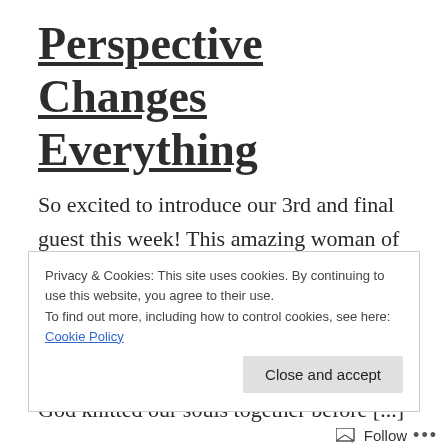Perspective Changes Everything
So excited to introduce our 3rd and final guest this week! This amazing woman of God has become like a sister to me. I love her and her family dearly and cherish the time we've spent in ministry together over the past year and a half. I truly believe God knitted our souls together before [...]
Privacy & Cookies: This site uses cookies. By continuing to use this website, you agree to their use.
To find out more, including how to control cookies, see here: Cookie Policy
Close and accept
Follow